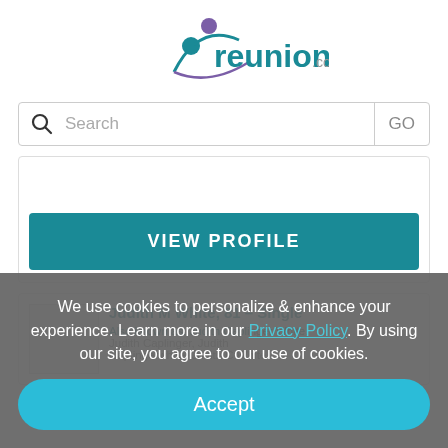[Figure (logo): reunion.com logo with teal text and decorative figure/swoosh graphic]
Search  GO
[Figure (screenshot): VIEW PROFILE button (teal background, white text)]
Judith M White, 81 – Single
Also known as: Judith Caplinger White, Judith Caplinger, Judith Caplingerwhite, Judith C White
We use cookies to personalize & enhance your experience. Learn more in our Privacy Policy. By using our site, you agree to our use of cookies.
Accept